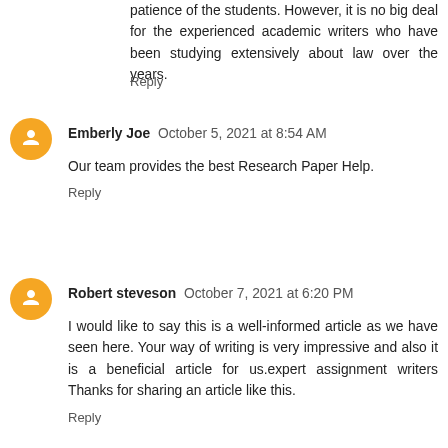patience of the students. However, it is no big deal for the experienced academic writers who have been studying extensively about law over the years.
Reply
Emberly Joe  October 5, 2021 at 8:54 AM
Our team provides the best Research Paper Help.
Reply
Robert steveson  October 7, 2021 at 6:20 PM
I would like to say this is a well-informed article as we have seen here. Your way of writing is very impressive and also it is a beneficial article for us.expert assignment writers Thanks for sharing an article like this.
Reply